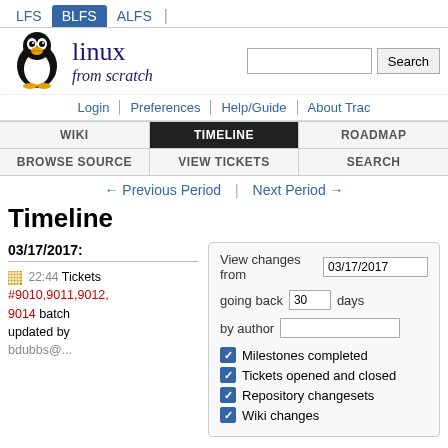LFS | BLFS | ALFS
[Figure (logo): Linux From Scratch penguin logo with brand text 'linux from scratch']
Login | Preferences | Help/Guide | About Trac
WIKI | TIMELINE | ROADMAP | BROWSE SOURCE | VIEW TICKETS | SEARCH
← Previous Period | Next Period →
Timeline
03/17/2017:
22:44 Tickets #9010,9011,9012,9014 batch updated by bdubbs@...
View changes from 03/17/2017 going back 30 days by author
Milestones completed
Tickets opened and closed
Repository changesets
Wiki changes